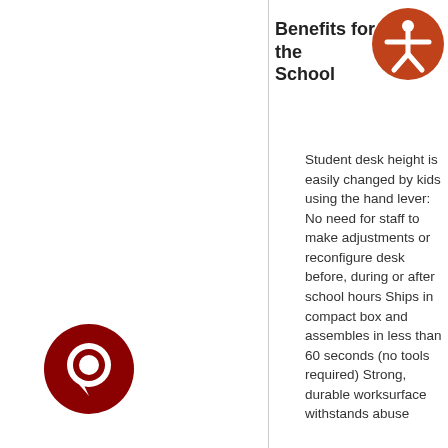Benefits for the School
[Figure (logo): Orange circular accessibility icon with white person figure with arms outstretched]
Student desk height is easily changed by kids using the hand lever: No need for staff to make adjustments or reconfigure desk before, during or after school hours Ships in compact box and assembles in less than 60 seconds (no tools required) Strong, durable worksurface withstands abuse
[Figure (logo): Dark red circular chat bubble icon with white speech bubble shape inside]